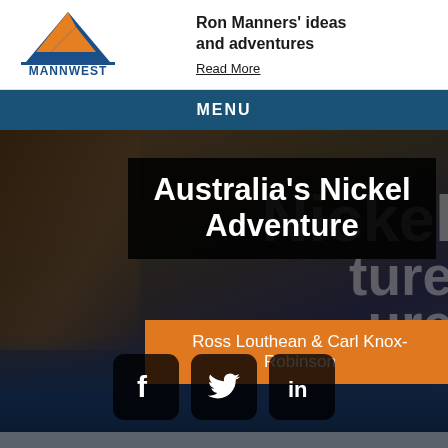[Figure (logo): Mannwest logo: blue and orange triangle/mountain shape above 'MANNWEST' text and 'since 1895']
Ron Manners' ideas and adventures
Read More
MENU
[Figure (photo): Background photo of miners/mining scene and book cover 'Australia's Nickel Adventure' by Ross Louthean & Carl Knox-Robinson, with Facebook, Twitter and LinkedIn social icons]
Australia's Nickel Adventure
Ross Louthean & Carl Knox-Robinson